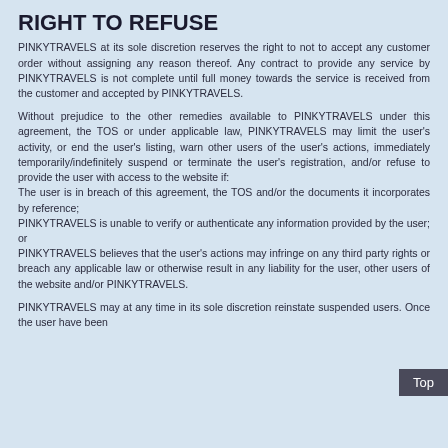RIGHT TO REFUSE
PINKYTRAVELS at its sole discretion reserves the right to not to accept any customer order without assigning any reason thereof. Any contract to provide any service by PINKYTRAVELS is not complete until full money towards the service is received from the customer and accepted by PINKYTRAVELS.
Without prejudice to the other remedies available to PINKYTRAVELS under this agreement, the TOS or under applicable law, PINKYTRAVELS may limit the user's activity, or end the user's listing, warn other users of the user's actions, immediately temporarily/indefinitely suspend or terminate the user's registration, and/or refuse to provide the user with access to the website if:
The user is in breach of this agreement, the TOS and/or the documents it incorporates by reference;
PINKYTRAVELS is unable to verify or authenticate any information provided by the user; or
PINKYTRAVELS believes that the user's actions may infringe on any third party rights or breach any applicable law or otherwise result in any liability for the user, other users of the website and/or PINKYTRAVELS.
PINKYTRAVELS may at any time in its sole discretion reinstate suspended users. Once the user have been...